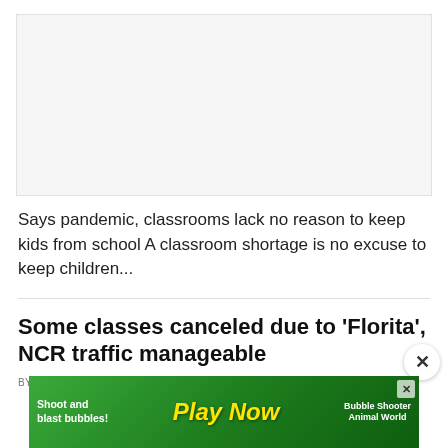[Figure (other): Advertisement placeholder banner]
Says pandemic, classrooms lack no reason to keep kids from school A classroom shortage is no excuse to keep children...
Some classes canceled due to ‘Florita’, NCR traffic manageable
BY RIO N. ARAJA AND 1 OTHERS © AUGUST 23, 2022, 1:40 AM 💬 0
[Figure (other): Mobile game advertisement banner at the bottom showing 'Play Now' text for Bubble Shooter Animal World game]